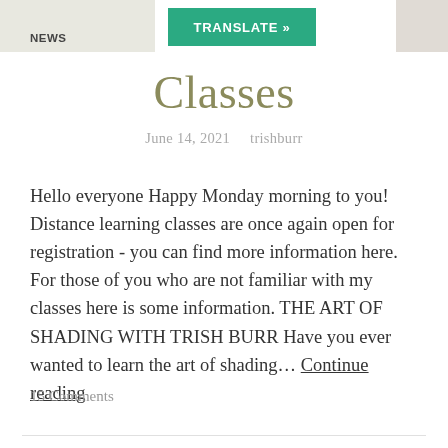NEWS
[Figure (screenshot): Translate button (green) in page header area]
Classes
June 14, 2021   trishburr
Hello everyone Happy Monday morning to you! Distance learning classes are once again open for registration - you can find more information here. For those of you who are not familiar with my classes here is some information. THE ART OF SHADING WITH TRISH BURR Have you ever wanted to learn the art of shading… Continue reading
15 Comments